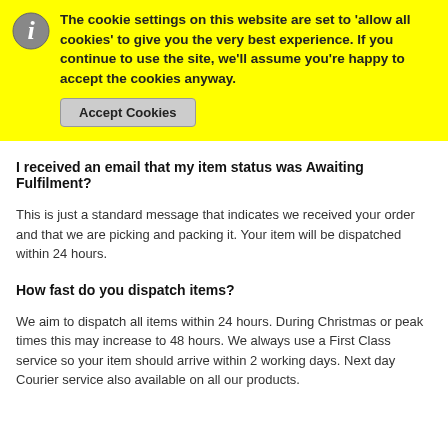The cookie settings on this website are set to 'allow all cookies' to give you the very best experience. If you continue to use the site, we'll assume you're happy to accept the cookies anyway.
Accept Cookies
I received an email that my item status was Awaiting Fulfilment?
This is just a standard message that indicates we received your order and that we are picking and packing it. Your item will be dispatched within 24 hours.
How fast do you dispatch items?
We aim to dispatch all items within 24 hours. During Christmas or peak times this may increase to 48 hours. We always use a First Class service so your item should arrive within 2 working days. Next day Courier service also available on all our products.